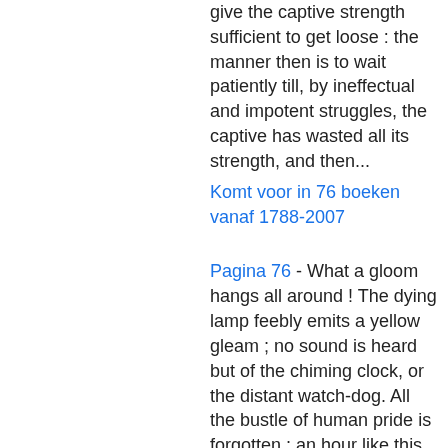give the captive strength sufficient to get loose : the manner then is to wait patiently till, by ineffectual and impotent struggles, the captive has wasted all its strength, and then...
Komt voor in 76 boeken vanaf 1788-2007
Pagina 76 - What a gloom hangs all around ! The dying lamp feebly emits a yellow gleam ; no sound is heard but of the chiming clock, or the distant watch-dog. All the bustle of human pride is forgotten ; an hour like this may well display the emptiness of human vanity. " There will come a time, when this